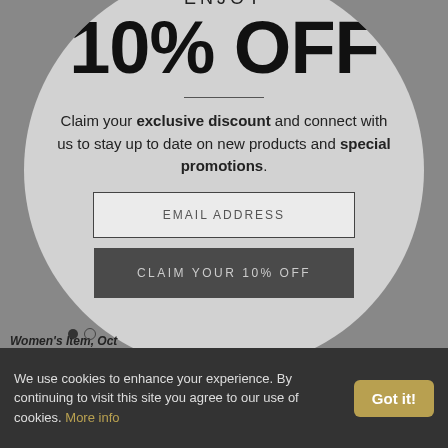ENJOY
10% OFF
Claim your exclusive discount and connect with us to stay up to date on new products and special promotions.
EMAIL ADDRESS
CLAIM YOUR 10% OFF
Women's Item, Oct
We use cookies to enhance your experience. By continuing to visit this site you agree to our use of cookies. More info